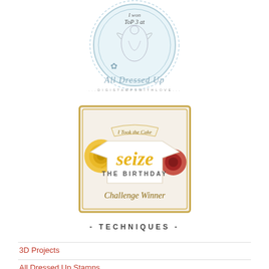[Figure (logo): All Dressed Up digi stamps badge - oval lace frame with 'I won Top 3 at' text and fairy illustration, with 'All Dressed Up' cursive logo below]
[Figure (logo): Seize the Birthday Challenge Winner badge - gold frame with yellow and red paper roses, 'I Took the Cake' text, 'seize THE BIRTHDAY Challenge Winner' text]
- TECHNIQUES -
3D Projects
All Dressed Up Stamps